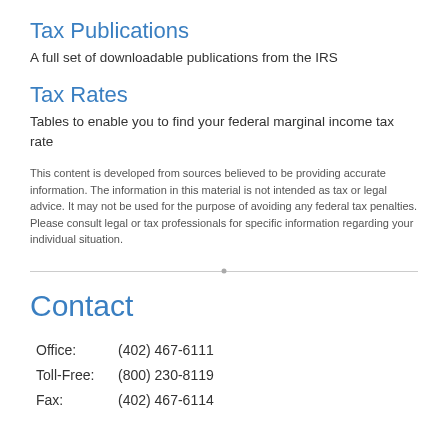Tax Publications
A full set of downloadable publications from the IRS
Tax Rates
Tables to enable you to find your federal marginal income tax rate
This content is developed from sources believed to be providing accurate information. The information in this material is not intended as tax or legal advice. It may not be used for the purpose of avoiding any federal tax penalties. Please consult legal or tax professionals for specific information regarding your individual situation.
Contact
Office:     (402) 467-6111
Toll-Free:  (800) 230-8119
Fax:        (402) 467-6114